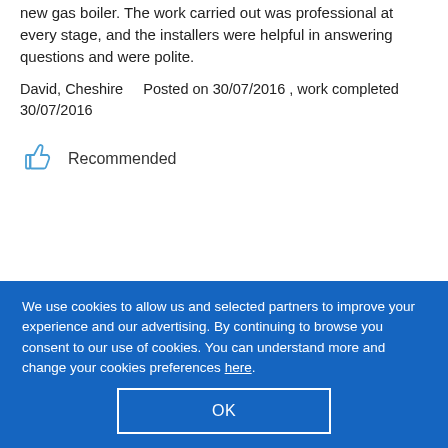new gas boiler. The work carried out was professional at every stage, and the installers were helpful in answering questions and were polite.
David, Cheshire    Posted on 30/07/2016 , work completed 30/07/2016
Recommended
We use cookies to allow us and selected partners to improve your experience and our advertising. By continuing to browse you consent to our use of cookies. You can understand more and change your cookies preferences here.
OK